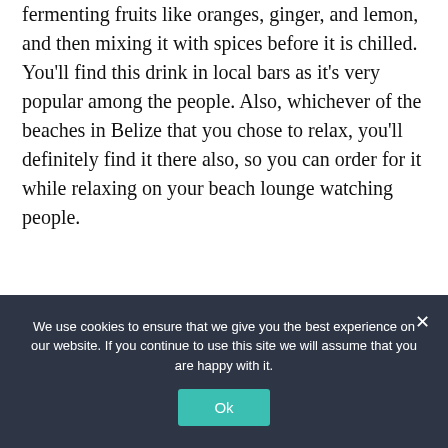fermenting fruits like oranges, ginger, and lemon, and then mixing it with spices before it is chilled. You'll find this drink in local bars as it's very popular among the people. Also, whichever of the beaches in Belize that you chose to relax, you'll definitely find it there also, so you can order for it while relaxing on your beach lounge watching people.
Rum
We use cookies to ensure that we give you the best experience on our website. If you continue to use this site we will assume that you are happy with it.